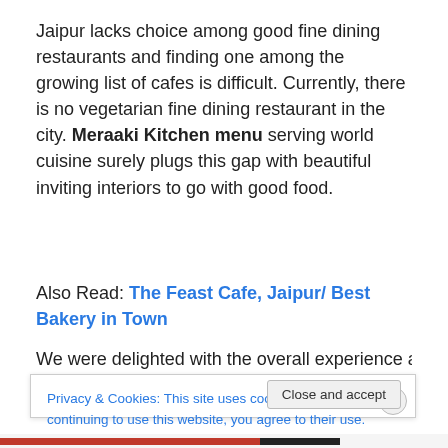Jaipur lacks choice among good fine dining restaurants and finding one among the growing list of cafes is difficult. Currently, there is no vegetarian fine dining restaurant in the city. Meraaki Kitchen menu serving world cuisine surely plugs this gap with beautiful inviting interiors to go with good food.
Also Read: The Feast Cafe, Jaipur/ Best Bakery in Town
We were delighted with the overall experience at
Privacy & Cookies: This site uses cookies. By continuing to use this website, you agree to their use.
To find out more, including how to control cookies, see here: Cookie Policy